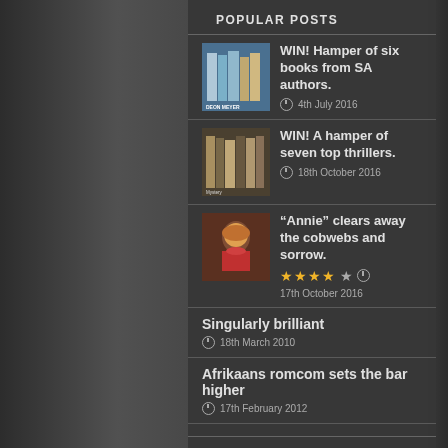POPULAR POSTS
WIN! Hamper of six books from SA authors. 4th July 2016
WIN! A hamper of seven top thrillers. 18th October 2016
“Annie” clears away the cobwebs and sorrow. ★★★★☆ 17th October 2016
Singularly brilliant. 18th March 2010
Afrikaans romcom sets the bar higher. 17th February 2012
RECENT COMMENTS